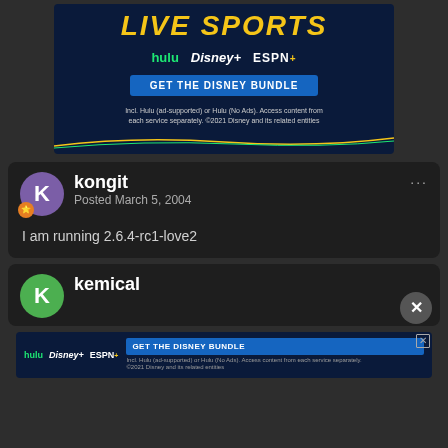[Figure (screenshot): Disney Bundle advertisement banner showing LIVE SPORTS text, Hulu, Disney+, ESPN+ logos, GET THE DISNEY BUNDLE button, and fine print]
kongit
Posted March 5, 2004
I am running 2.6.4-rc1-love2
kemical
[Figure (screenshot): Disney Bundle advertisement banner at bottom with Hulu, Disney+, ESPN+ logos and GET THE DISNEY BUNDLE button]